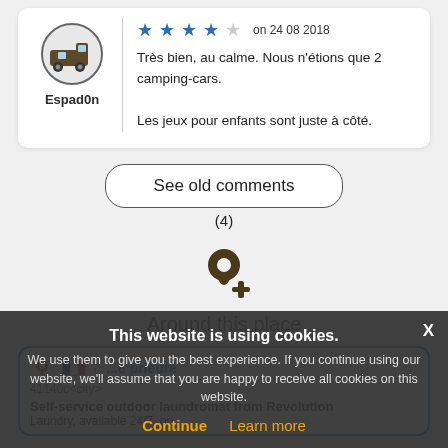[Figure (illustration): Camping car user icon in circle with username Espad0n below]
[Figure (illustration): Star rating (4 filled blue stars, 1 empty) and date on 24 08 2018]
Très bien, au calme. Nous n'étions que 2 camping-cars.
Les jeux pour enfants sont juste à côté.
See old comments
(4)
[Figure (illustration): Location pin with plus sign icon for Around this place]
Around this place
This website is using cookies.
We use them to give you the best experience. If you continue using our website, we'll assume that you are happy to receive all cookies on this website.
Continue   Learn more